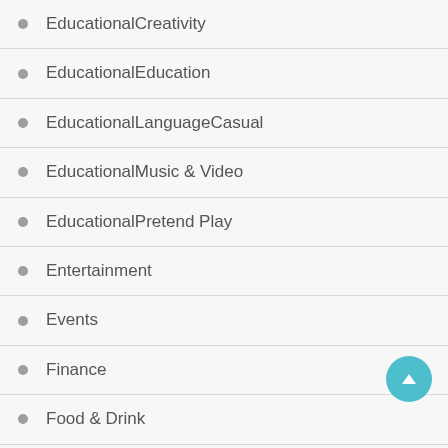EducationalCreativity
EducationalEducation
EducationalLanguageCasual
EducationalMusic & Video
EducationalPretend Play
Entertainment
Events
Finance
Food & Drink
Food & Drink